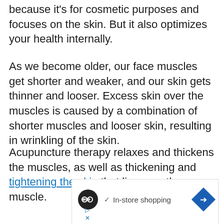because it's for cosmetic purposes and focuses on the skin. But it also optimizes your health internally.
As we become older, our face muscles get shorter and weaker, and our skin gets thinner and looser. Excess skin over the muscles is caused by a combination of shorter muscles and looser skin, resulting in wrinkling of the skin.
Acupuncture therapy relaxes and thickens the muscles, as well as thickening and tightening the skin that lies over the muscle.
[Figure (screenshot): Advertisement banner showing a circular logo icon, checkmark with 'In-store shopping' text, and a blue diamond arrow icon, with play and close controls below.]